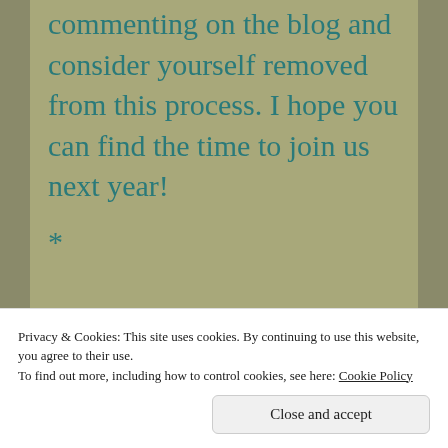commenting on the blog and consider yourself removed from this process. I hope you can find the time to join us next year!
*
Privacy & Cookies: This site uses cookies. By continuing to use this website, you agree to their use.
To find out more, including how to control cookies, see here: Cookie Policy